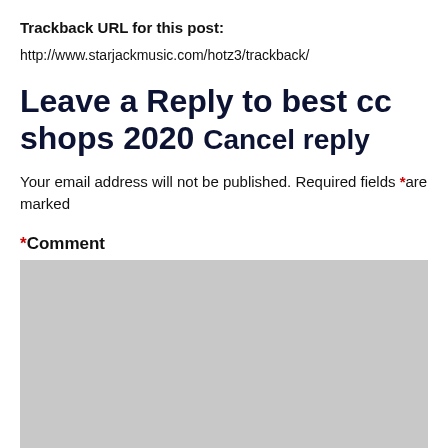Trackback URL for this post:
http://www.starjackmusic.com/hotz3/trackback/
Leave a Reply to best cc shops 2020 Cancel reply
Your email address will not be published. Required fields *are marked
*Comment
[Figure (other): Gray comment text area input box]